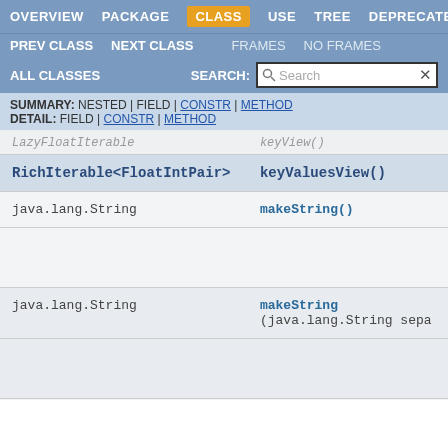OVERVIEW  PACKAGE  CLASS  USE  TREE  DEPRECATED
PREV CLASS  NEXT CLASS  FRAMES  NO FRAMES
ALL CLASSES  SEARCH:  [Search]
SUMMARY: NESTED | FIELD | CONSTR | METHOD
DETAIL: FIELD | CONSTR | METHOD
| Return Type | Method |
| --- | --- |
| LazyFloatIterable | keyView() |
| RichIterable<FloatIntPair> | keyValuesView() |
| java.lang.String | makeString() |
| java.lang.String | makeString
(java.lang.String sepa |
| java.lang.String | makeString |